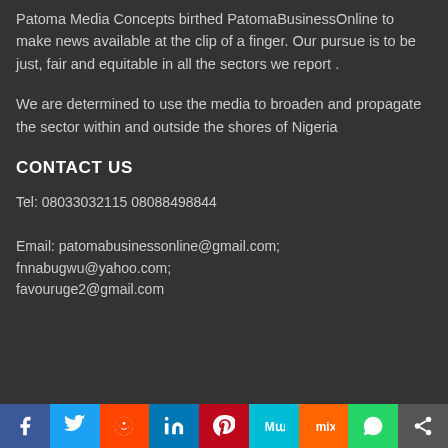Patoma Media Concepts birthed PatomaBusinessOnline to make news available at the clip of a finger. Our pursue is to be just, fair and equitable in all the sectors we report .
We are determined to use the media to broaden and propagate the sector within and outside the shores of Nigeria
CONTACT US
Tel: 08033032115 08088498844
Email: patomabusinessonline@gmail.com; fnnabugwu@yahoo.com; favouruge2@gmail.com
[Figure (other): Social media share buttons bar: Facebook, Twitter, Reddit, LinkedIn, Pinterest, MeWe, Mix, WhatsApp, Share]